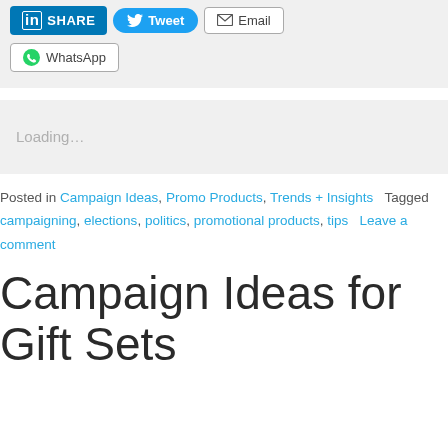[Figure (screenshot): Social share buttons: LinkedIn SHARE, Twitter Tweet, Email, and WhatsApp]
[Figure (screenshot): Loading placeholder box with 'Loading...' text in light gray]
Posted in Campaign Ideas, Promo Products, Trends + Insights   Tagged campaigning, elections, politics, promotional products, tips   Leave a comment
Campaign Ideas for Gift Sets